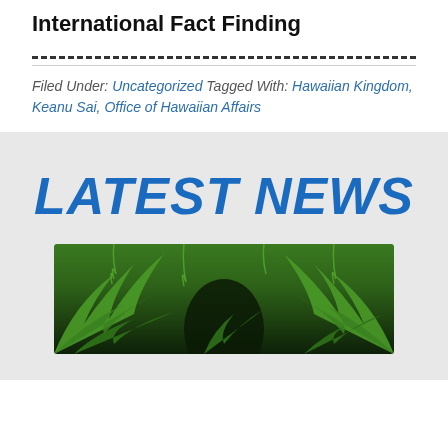International Fact Finding
Filed Under: Uncategorized Tagged With: Hawaiian Kingdom, Keanu Sai, Office of Hawaiian Affairs
LATEST NEWS
[Figure (photo): Photo of tropical rainforest with ferns and lush green jungle vegetation]